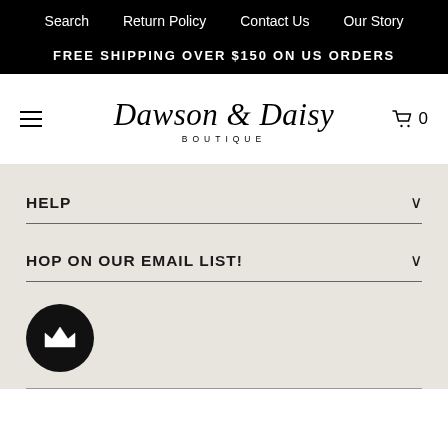Search  Return Policy  Contact Us  Our Story
FREE SHIPPING OVER $150 ON US ORDERS
[Figure (logo): Dawson & Daisy Boutique logo in script font with BOUTIQUE subtitle]
HELP
HOP ON OUR EMAIL LIST!
[Figure (illustration): Black circle with white crown icon - loyalty/rewards badge]